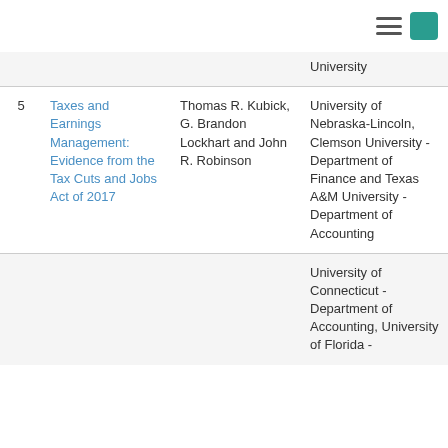Navigation menu and button
| # | Title | Authors | Institution |
| --- | --- | --- | --- |
|  |  |  | University |
| 5 | Taxes and Earnings Management: Evidence from the Tax Cuts and Jobs Act of 2017 | Thomas R. Kubick, G. Brandon Lockhart and John R. Robinson | University of Nebraska-Lincoln, Clemson University - Department of Finance and Texas A&M University - Department of Accounting |
|  |  |  | University of Connecticut - Department of Accounting, University of Florida - |